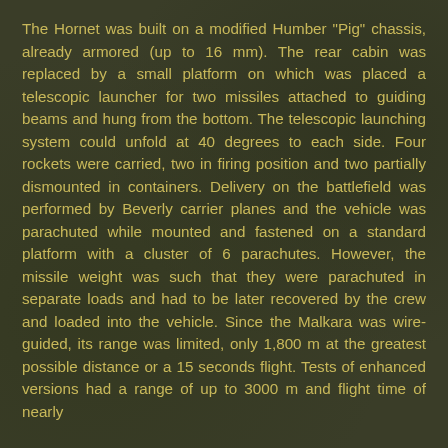The Hornet was built on a modified Humber "Pig" chassis, already armored (up to 16 mm). The rear cabin was replaced by a small platform on which was placed a telescopic launcher for two missiles attached to guiding beams and hung from the bottom. The telescopic launching system could unfold at 40 degrees to each side. Four rockets were carried, two in firing position and two partially dismounted in containers. Delivery on the battlefield was performed by Beverly carrier planes and the vehicle was parachuted while mounted and fastened on a standard platform with a cluster of 6 parachutes. However, the missile weight was such that they were parachuted in separate loads and had to be later recovered by the crew and loaded into the vehicle. Since the Malkara was wire-guided, its range was limited, only 1,800 m at the greatest possible distance or a 15 seconds flight. Tests of enhanced versions had a range of up to 3000 m and flight time of nearly